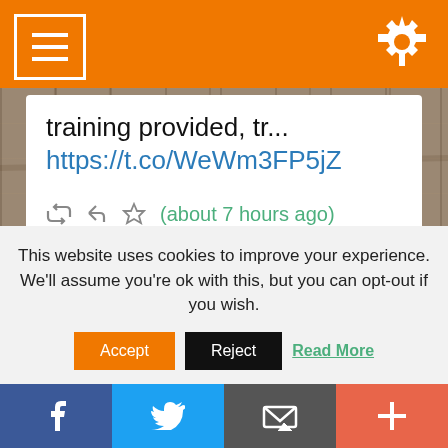[Figure (screenshot): Orange top navigation bar with hamburger menu icon on left and gear/settings icon on right]
training provided, tr... https://t.co/WeWm3FP5jZ
(about 7 hours ago)
[Figure (photo): Weathered wood plank background texture]
This website uses cookies to improve your experience. We'll assume you're ok with this, but you can opt-out if you wish.
Accept  Reject  Read More
[Figure (infographic): Bottom social sharing bar with Facebook, Twitter, email, and plus icons]